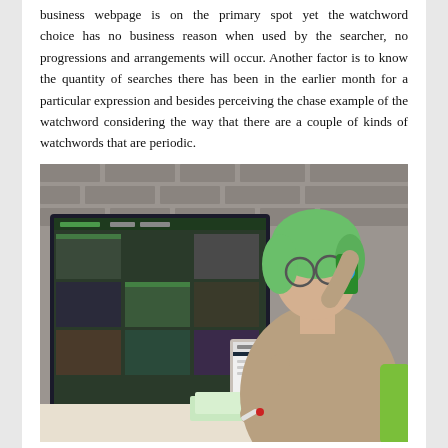business webpage is on the primary spot yet the watchword choice has no business reason when used by the searcher, no progressions and arrangements will occur. Another factor is to know the quantity of searches there has been in the earlier month for a particular expression and besides perceiving the chase example of the watchword considering the way that there are a couple of kinds of watchwords that are periodic.
[Figure (photo): A young woman with green hair, wearing glasses and a beige sweater, sitting at a desk with a large monitor displaying a website, and a laptop, while talking on a green phone and holding a pen, with a brick wall in the background and a green chair visible.]